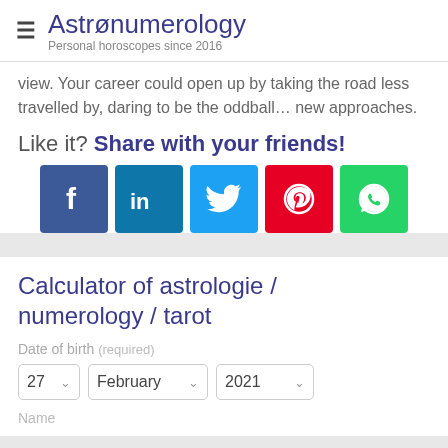Astronumerology — Personal horoscopes since 2016
view. Your career could open up by taking the road less travelled by, daring to be the oddball… new approaches.
Like it? Share with your friends!
[Figure (infographic): Social sharing buttons: Facebook, LinkedIn, Twitter, Pinterest, WhatsApp]
Calculator of astrologie / numerology / tarot
Date of birth (required)
27 | February | 2021
Name